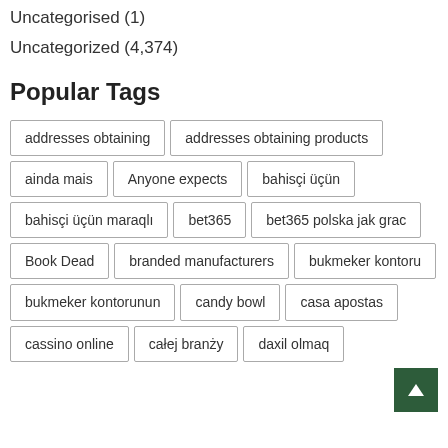Uncategorised (1)
Uncategorized (4,374)
Popular Tags
addresses obtaining
addresses obtaining products
ainda mais
Anyone expects
bahisçi üçün
bahisçi üçün maraqlı
bet365
bet365 polska jak grac
Book Dead
branded manufacturers
bukmeker kontoru
bukmeker kontorunun
candy bowl
casa apostas
cassino online
całej branży
daxil olmaq